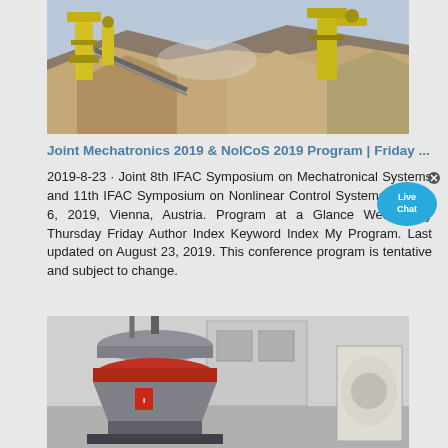[Figure (photo): Outdoor quarry/mining plant scene with yellow heavy machinery, conveyor belts, and large piles of gravel/rock]
Joint Mechatronics 2019 & NolCoS 2019 Program | Friday ...
2019-8-23 · Joint 8th IFAC Symposium on Mechatronical Systems and 11th IFAC Symposium on Nonlinear Control SystemsSept. 4-6, 2019, Vienna, Austria. Program at a Glance Wednesday Thursday Friday Author Index Keyword Index My Program. Last updated on August 23, 2019. This conference program is tentative and subject to change.
[Figure (photo): Indoor industrial facility showing a large cone crusher machine with orange/red ring detail and other heavy industrial equipment]